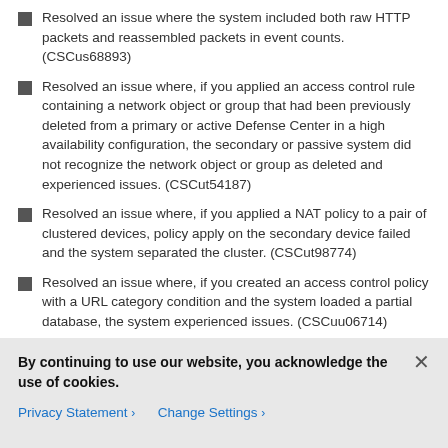Resolved an issue where the system included both raw HTTP packets and reassembled packets in event counts. (CSCus68893)
Resolved an issue where, if you applied an access control rule containing a network object or group that had been previously deleted from a primary or active Defense Center in a high availability configuration, the secondary or passive system did not recognize the network object or group as deleted and experienced issues. (CSCut54187)
Resolved an issue where, if you applied a NAT policy to a pair of clustered devices, policy apply on the secondary device failed and the system separated the cluster. (CSCut98774)
Resolved an issue where, if you created an access control policy with a URL category condition and the system loaded a partial database, the system experienced issues. (CSCuu06714)
By continuing to use our website, you acknowledge the use of cookies.
Privacy Statement > Change Settings >